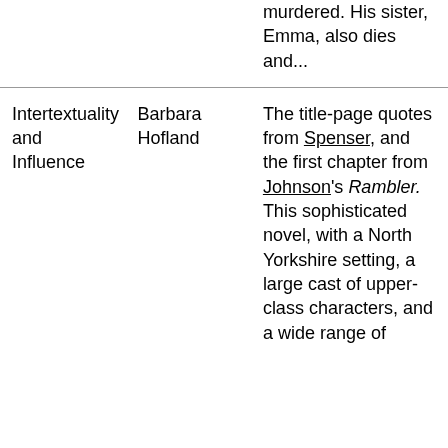|  |  | murdered. His sister, Emma, also dies and... |
| Intertextuality and Influence | Barbara Hofland | The title-page quotes from Spenser, and the first chapter from Johnson's Rambler. This sophisticated novel, with a North Yorkshire setting, a large cast of upper-class characters, and a wide range of |